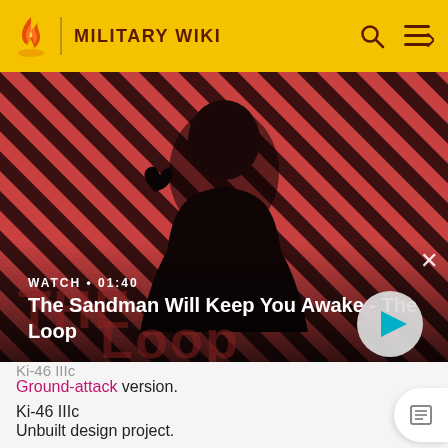MILITARY WIKI
[Figure (screenshot): Video thumbnail for 'The Sandman Will Keep You Awake - The Loop' showing a man in dark clothing with a raven on his shoulder against a red/black striped background. Duration shown as 01:40.]
Ki-46 IIIc (partial, truncated at top)
Ground-attack version.
Ki-46 IIIc
Unbuilt design project.
Ki-46 IV
Prototype, equipped with two turbocharged 1,119 kW